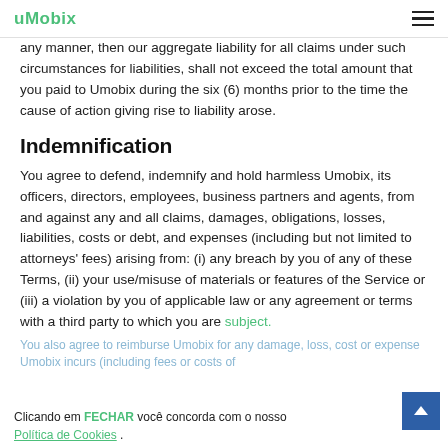uMobix
any manner, then our aggregate liability for all claims under such circumstances for liabilities, shall not exceed the total amount that you paid to Umobix during the six (6) months prior to the time the cause of action giving rise to liability arose.
Indemnification
You agree to defend, indemnify and hold harmless Umobix, its officers, directors, employees, business partners and agents, from and against any and all claims, damages, obligations, losses, liabilities, costs or debt, and expenses (including but not limited to attorneys' fees) arising from: (i) any breach by you of any of these Terms, (ii) your use/misuse of materials or features of the Service or (iii) a violation by you of applicable law or any agreement or terms with a third party to which you are subject.
You also agree to reimburse Umobix for any damage, loss, cost or expense Umobix incurs (including fees or costs of
Clicando em FECHAR você concorda com o nosso Política de Cookies .